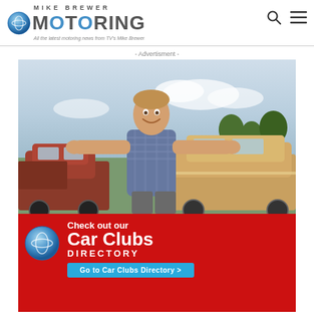MIKE BREWER MOTORING — All the latest motoring news from TV's Mike Brewer
- Advertisment -
[Figure (photo): Advertisement for Mike Brewer Motoring Car Clubs Directory. Top half shows a smiling man in a plaid shirt standing among classic cars in an outdoor lot with arms outstretched. Bottom half has a red background with white text reading 'Check out our Car Clubs DIRECTORY' with a Mike Brewer Motoring logo on the left and a blue 'Go to Car Clubs Directory >' button at the bottom.]